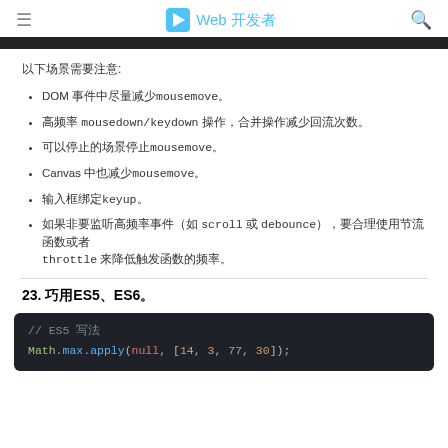Web 开发者
以下场景需要注意:
DOM 事件中尽量减少mousemove。
高频率 mousedown/keydown 操作，合并操作减少回流次数。
可以停止的场景停止mousemove。
Canvas 中也减少mousemove。
输入框绑定keyup。
如果非要监听高频率事件（如 scroll 或 debounce），要合理使用节流函数或者 throttle 来降低触发函数的频率。
23. 巧用ES5、ES6。
[Figure (screenshot): Code block showing ES5 comment and Math.max.apply(null, [14, 3, 77, 30]); in syntax-highlighted dark theme]